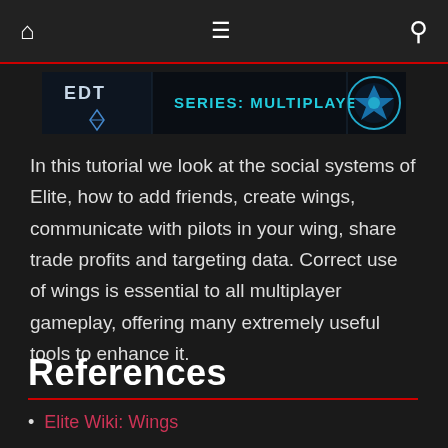[ home icon ]  [ menu icon ]  [ search icon ]
[Figure (screenshot): Banner image showing 'EDT' logo on left and a wing/emblem icon on right, with text 'SERIES: MULTIPLAYER' in cyan on a dark background]
In this tutorial we look at the social systems of Elite, how to add friends, create wings, communicate with pilots in your wing, share trade profits and targeting data. Correct use of wings is essential to all multiplayer gameplay, offering many extremely useful tools to enhance it.
References
Elite Wiki: Wings